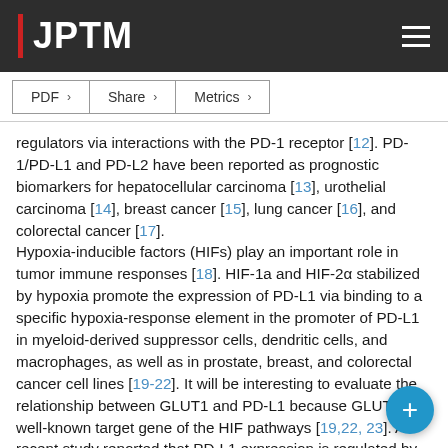JPTM
regulators via interactions with the PD-1 receptor [12]. PD-1/PD-L1 and PD-L2 have been reported as prognostic biomarkers for hepatocellular carcinoma [13], urothelial carcinoma [14], breast cancer [15], lung cancer [16], and colorectal cancer [17]. Hypoxia-inducible factors (HIFs) play an important role in tumor immune responses [18]. HIF-1a and HIF-2α stabilized by hypoxia promote the expression of PD-L1 via binding to a specific hypoxia-response element in the promoter of PD-L1 in myeloid-derived suppressor cells, dendritic cells, and macrophages, as well as in prostate, breast, and colorectal cancer cell lines [19-22]. It will be interesting to evaluate the relationship between GLUT1 and PD-L1 because GLUT1 is a well-known target gene of the HIF pathways [19,22, 23]. A recent study reported that PD-L1 expression is regulated by GLUT1 in clear cell renal cell carcinoma [24]. An anti–PD-1 monoclonal antibody (nivolumab) has exhibited substantial therapeutic activity and an acceptable safety profile in relapsed or refractory cHL [25]. GLUT1 specific inhibitor (STF-31) has expressed the suppressed...